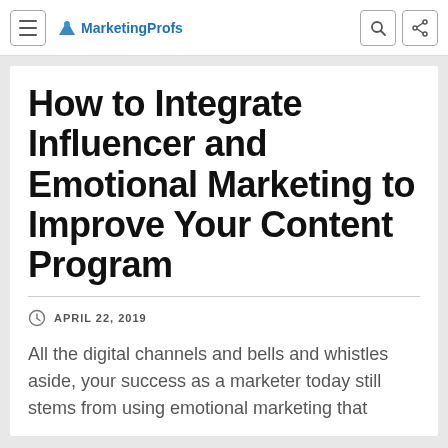MarketingProfs
How to Integrate Influencer and Emotional Marketing to Improve Your Content Program
APRIL 22, 2019
All the digital channels and bells and whistles aside, your success as a marketer today still stems from using emotional marketing that